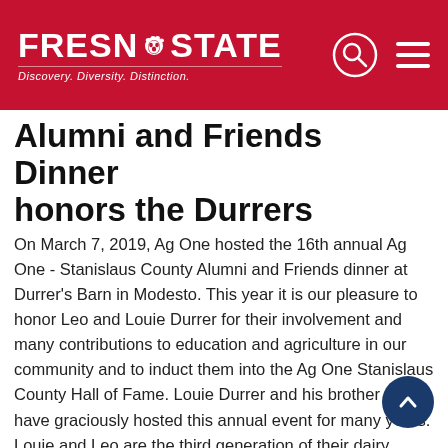FRESNO STATE — Discovery. Diversity. Distinction.
Alumni and Friends Dinner honors the Durrers
On March 7, 2019, Ag One hosted the 16th annual Ag One - Stanislaus County Alumni and Friends dinner at Durrer's Barn in Modesto. This year it is our pleasure to honor Leo and Louie Durrer for their involvement and many contributions to education and agriculture in our community and to induct them into the Ag One Stanislaus County Hall of Fame. Louie Durrer and his brother Leo have graciously hosted this annual event for many years. Louie and Leo are the third generation of their dairy operation, Lorita Holsteins. In addition to supporting Fresno State, the Durrers host many other charitable organizations including events for the Stanislaus County Sheriff's Department and